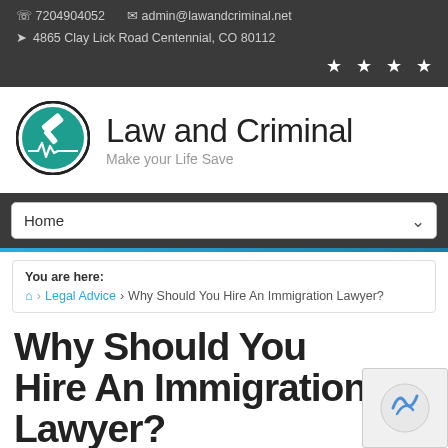☎ 7204904052   ✉ admin@lawandcriminal.net
✈ 4865 Clay Lick Road Centennial, CO 80112
[Figure (logo): Law and Criminal logo — green circular badge with gavel and heartbeat line]
Law and Criminal
Make your Life Save
Home
You are here:
Home > Legal Advice > Why Should You Hire An Immigration Lawyer?
Why Should You Hire An Immigration Lawyer?